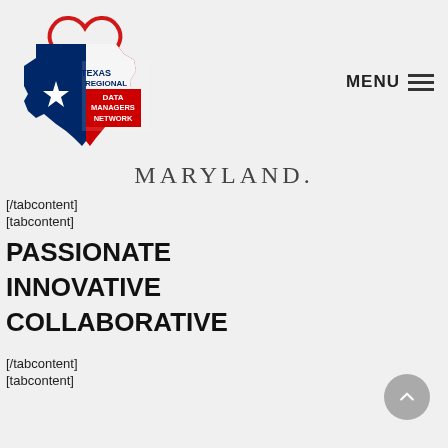[Figure (logo): Texas Regional Data Managers Network logo — Texas state shape in red and blue with a white star and a red heart outline, with text 'TEXAS REGIONAL DATA MANAGERS NETWORK']
MENU ≡
MARYLAND.
[/tabcontent]
[tabcontent]
PASSIONATE
INNOVATIVE
COLLABORATIVE
[/tabcontent]
[tabcontent]